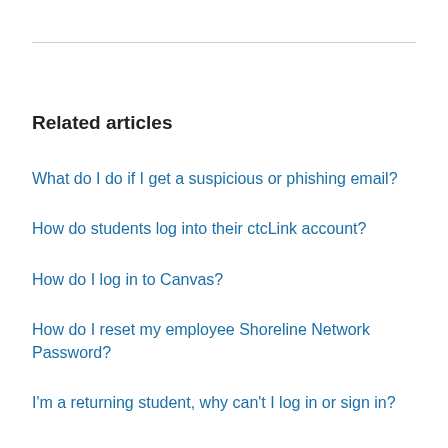Related articles
What do I do if I get a suspicious or phishing email?
How do students log into their ctcLink account?
How do I log in to Canvas?
How do I reset my employee Shoreline Network Password?
I'm a returning student, why can't I log in or sign in?